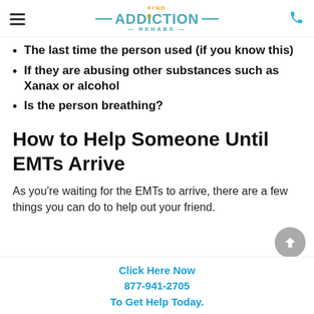Find Addiction Rehabs
The last time the person used (if you know this)
If they are abusing other substances such as Xanax or alcohol
Is the person breathing?
How to Help Someone Until EMTs Arrive
As you’re waiting for the EMTs to arrive, there are a few things you can do to help out your friend.
Click Here Now
877-941-2705
To Get Help Today.